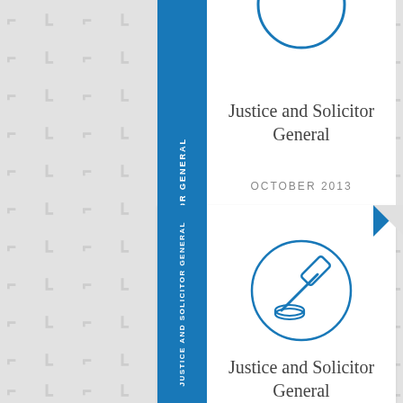[Figure (logo): Partial view of a circular logo/seal at top of first card]
Justice and Solicitor General
OCTOBER 2013
[Figure (illustration): Blue outline circle containing a judge's gavel and sound block icon]
Justice and Solicitor General